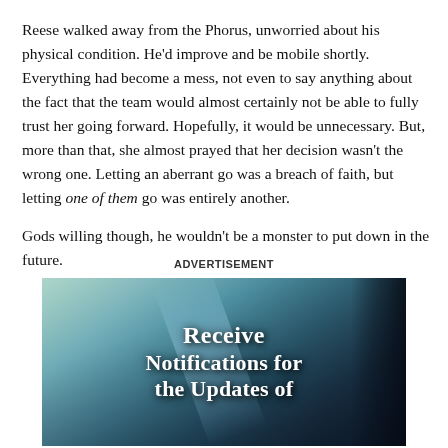Reese walked away from the Phorus, unworried about his physical condition. He'd improve and be mobile shortly. Everything had become a mess, not even to say anything about the fact that the team would almost certainly not be able to fully trust her going forward. Hopefully, it would be unnecessary. But, more than that, she almost prayed that her decision wasn't the wrong one. Letting an aberrant go was a breach of faith, but letting one of them go was entirely another.
Gods willing though, he wouldn't be a monster to put down in the future.
ADVERTISEMENT
[Figure (illustration): Fantasy illustration with dark background showing foliage/trees and a light beam, overlaid with white bold text reading 'RECEIVE NOTIFICATIONS FOR THE UPDATES OF']